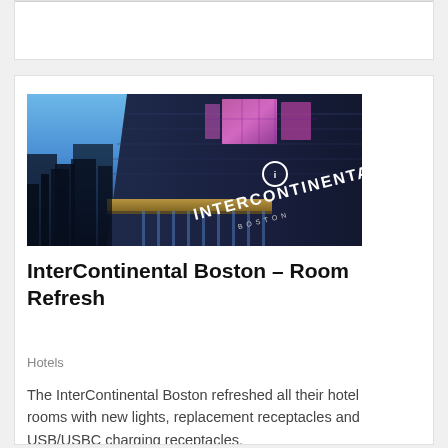[Figure (photo): Exterior night photo of the InterContinental Boston hotel building showing illuminated signage against a blue twilight sky with pink-lit windows]
InterContinental Boston – Room Refresh
Hotels
The InterContinental Boston refreshed all their hotel rooms with new lights, replacement receptacles and USB/USBC charging receptacles.